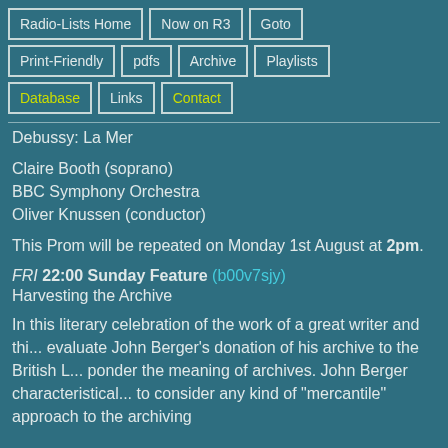Radio-Lists Home
Now on R3
Goto
Print-Friendly
pdfs
Archive
Playlists
Database
Links
Contact
Debussy: La Mer
Claire Booth (soprano)
BBC Symphony Orchestra
Oliver Knussen (conductor)
This Prom will be repeated on Monday 1st August at 2pm.
FRI 22:00 Sunday Feature (b00v7sjy)
Harvesting the Archive
In this literary celebration of the work of a great writer and thi... evaluate John Berger's donation of his archive to the British L... ponder the meaning of archives. John Berger characteristical... to consider any kind of "mercantile" approach to the archiving